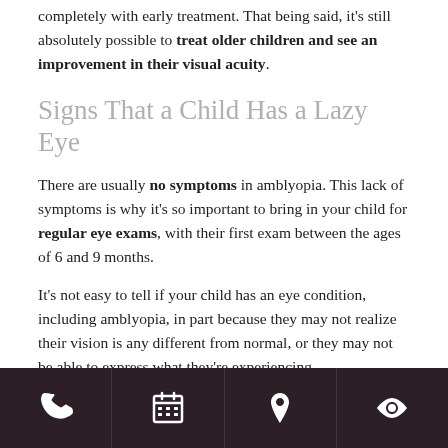completely with early treatment. That being said, it's still absolutely possible to treat older children and see an improvement in their visual acuity.
Signs That a Child Has a Lazy Eye
There are usually no symptoms in amblyopia. This lack of symptoms is why it's so important to bring in your child for regular eye exams, with their first exam between the ages of 6 and 9 months.
It's not easy to tell if your child has an eye condition, including amblyopia, in part because they may not realize their vision is any different from normal, or they may not be able to express what they're experiencing.
And because the stronger eye takes over vision tasks in
[phone] [calendar] [location] [eye]